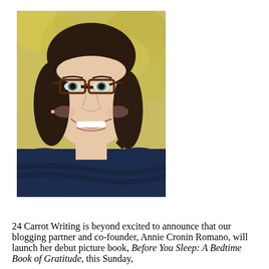[Figure (photo): Headshot of a smiling woman with dark brown chin-length hair and bangs, wearing glasses and a dark navy striped top, photographed outdoors with yellow-green foliage in the background.]
24 Carrot Writing is beyond excited to announce that our blogging partner and co-founder, Annie Cronin Romano, will launch her debut picture book, Before You Sleep: A Bedtime Book of Gratitude, this Sunday,